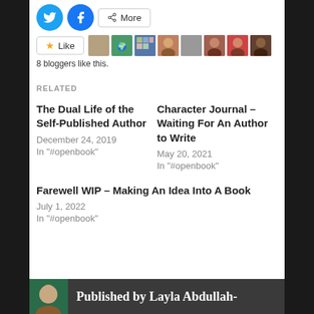[Figure (screenshot): Social sharing buttons: Twitter (blue circle), Facebook (blue circle), More button with share icon]
[Figure (screenshot): Like button with star icon, followed by 8 blogger avatar thumbnails]
8 bloggers like this.
RELATED
The Dual Life of the Self-Published Author
December 24, 2019
In "#openbook"
Character Journal – Waiting For An Author to Write
May 20, 2021
In "#openbook"
Farewell WIP – Making An Idea Into A Book
July 1, 2022
In "#openbook"
Published by Layla Abdullah-